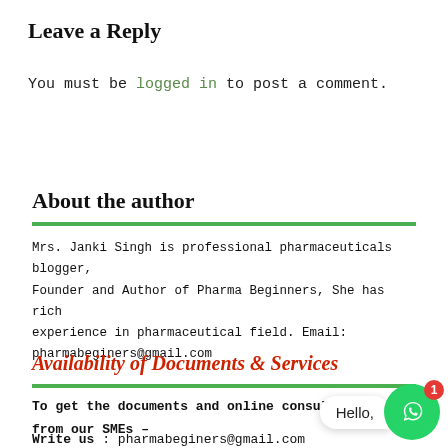Leave a Reply
You must be logged in to post a comment.
About the author
Mrs. Janki Singh is professional pharmaceuticals blogger, Founder and Author of Pharma Beginners, She has rich experience in pharmaceutical field. Email: pharmabeginers@gmail.com
Availability of Documents & Services
To get the documents and online consultancy services from our SMEs –
Write us : pharmabeginers@gmail.com